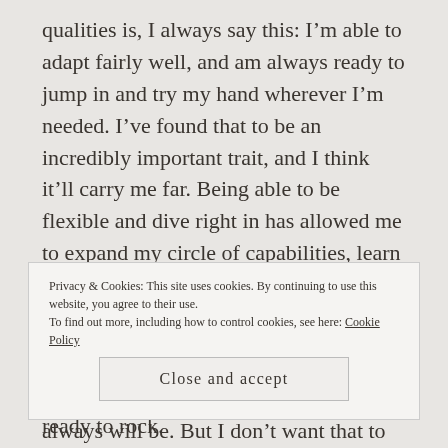qualities is, I always say this: I'm able to adapt fairly well, and am always ready to jump in and try my hand wherever I'm needed. I've found that to be an incredibly important trait, and I think it'll carry me far. Being able to be flexible and dive right in has allowed me to expand my circle of capabilities, learn a lot of new things and I intend to keep going on that stretch.
For instance, writing is my specialty. It's always been my specialty and probably always will be. But I don't want that to be the only thing I'm good at. I want to be
Privacy & Cookies: This site uses cookies. By continuing to use this website, you agree to their use.
To find out more, including how to control cookies, see here: Cookie Policy
Close and accept
ready to rock.